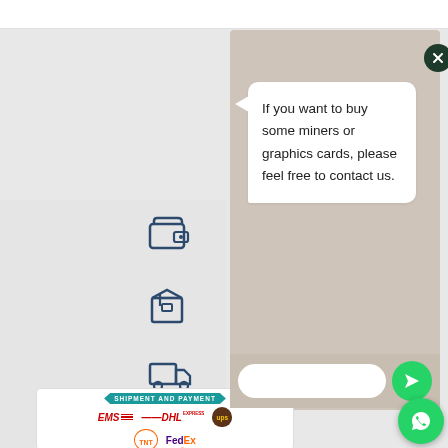[Figure (screenshot): WhatsApp-style chat popup with message bubble saying 'If you want to buy some miners or graphics cards, please feel free to contact us.' with a close button, input field, and send button. Below are sidebar icons (wallet, box, truck) and a shipment/payment banner showing EMS, DHL, UPS, TNT, FedEx logos.]
If you want to buy some miners or graphics cards, please feel free to contact us.
[Figure (logo): Shipment and Payment banner with logos: EMS, DHL, UPS (row 1), TNT, FedEx Express (row 2)]